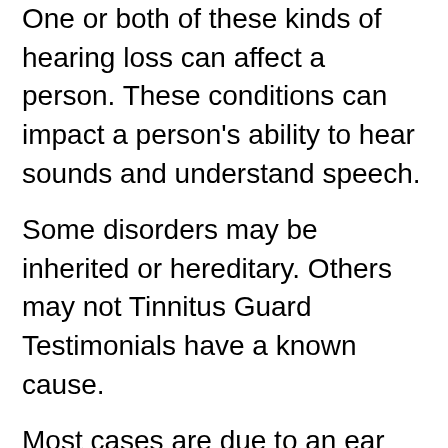One or both of these kinds of hearing loss can affect a person. These conditions can impact a person's ability to hear sounds and understand speech.
Some disorders may be inherited or hereditary. Others may not Tinnitus Guard Testimonials have a known cause.
Most cases are due to an ear infection, stroke, or trauma. There are many other causes of hearing loss. Some are not easily treated. Hearing loss can happen in either one or both ears. It may also occur gradually.